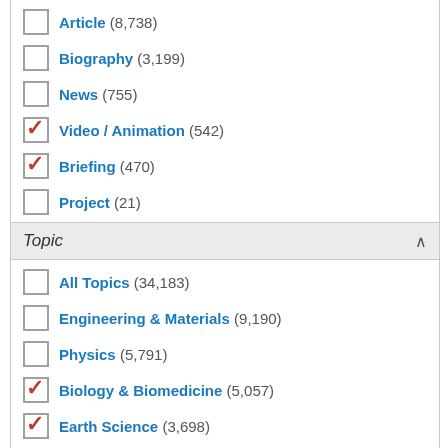Article (8,738)
Biography (3,199)
News (755)
Video / Animation (542) [checked]
Briefing (470) [checked]
Project (21)
Image Gallery (13) [checked]
Topic
All Topics (34,183)
Engineering & Materials (9,190)
Physics (5,791)
Biology & Biomedicine (5,057) [checked]
Earth Science (3,698) [checked]
Chemistry (2,849) [checked]
Zoology (2,718)
Health Sciences (2,372)
Astronomy & Space Science (2,020)
Botany (1,773)